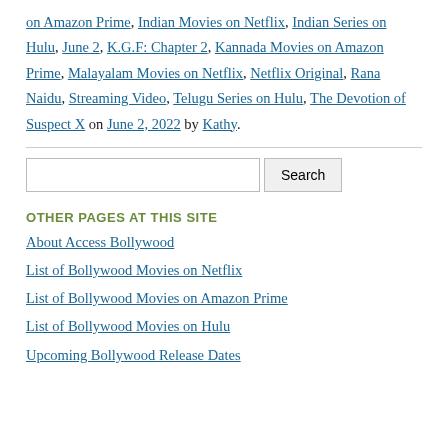on Amazon Prime, Indian Movies on Netflix, Indian Series on Hulu, June 2, K.G.F: Chapter 2, Kannada Movies on Amazon Prime, Malayalam Movies on Netflix, Netflix Original, Rana Naidu, Streaming Video, Telugu Series on Hulu, The Devotion of Suspect X on June 2, 2022 by Kathy.
Search
OTHER PAGES AT THIS SITE
About Access Bollywood
List of Bollywood Movies on Netflix
List of Bollywood Movies on Amazon Prime
List of Bollywood Movies on Hulu
Upcoming Bollywood Release Dates